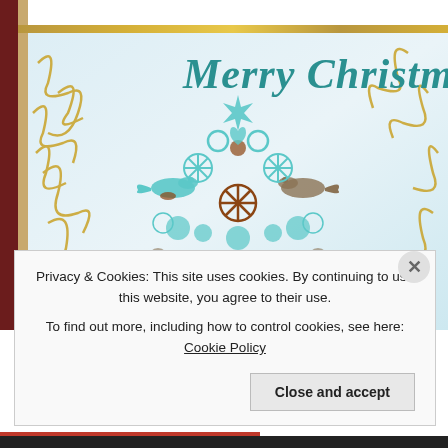[Figure (illustration): A decorative Christmas card image featuring a stylized tree made of snowflakes, birds, hearts, and circular ornaments in teal, brown, and gray, with gold swirl patterns on the sides and 'Merry Christmas' written in teal cursive script at the top right.]
Privacy & Cookies: This site uses cookies. By continuing to use this website, you agree to their use.
To find out more, including how to control cookies, see here: Cookie Policy
Close and accept